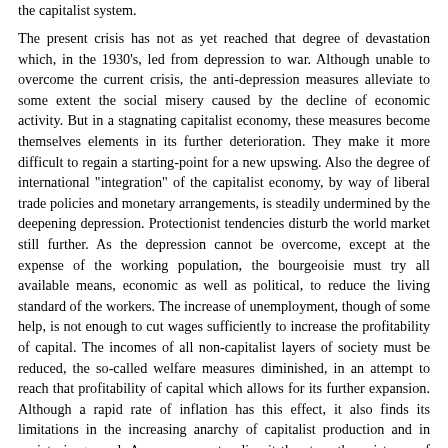the capitalist system.
The present crisis has not as yet reached that degree of devastation which, in the 1930's, led from depression to war. Although unable to overcome the current crisis, the anti-depression measures alleviate to some extent the social misery caused by the decline of economic activity. But in a stagnating capitalist economy, these measures become themselves elements in its further deterioration. They make it more difficult to regain a starting-point for a new upswing. Also the degree of international "integration" of the capitalist economy, by way of liberal trade policies and monetary arrangements, is steadily undermined by the deepening depression. Protectionist tendencies disturb the world market still further. As the depression cannot be overcome, except at the expense of the working population, the bourgeoisie must try all available means, economic as well as political, to reduce the living standard of the workers. The increase of unemployment, though of some help, is not enough to cut wages sufficiently to increase the profitability of capital. The incomes of all non-capitalist layers of society must be reduced, the so-called welfare measures diminished, in an attempt to reach that profitability of capital which allows for its further expansion. Although a rapid rate of inflation has this effect, it also finds its limitations in the increasing anarchy of capitalist production and in society in general. As a permanent policy it threatens the existence of the system itself.